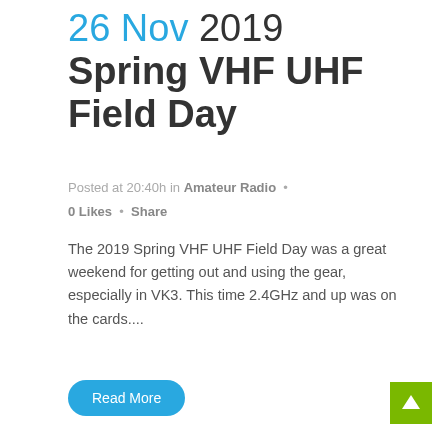26 Nov 2019 Spring VHF UHF Field Day
Posted at 20:40h in Amateur Radio · 0 Likes · Share
The 2019 Spring VHF UHF Field Day was a great weekend for getting out and using the gear, especially in VK3. This time 2.4GHz and up was on the cards....
Read More